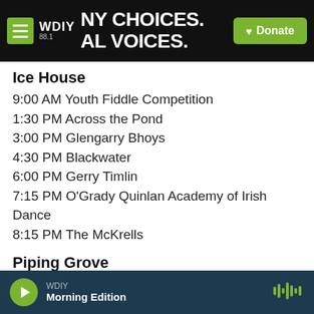WDIY 88.1 — MANY CHOICES. LOCAL VOICES. | Donate
Ice House
9:00 AM Youth Fiddle Competition
1:30 PM Across the Pond
3:00 PM Glengarry Bhoys
4:30 PM Blackwater
6:00 PM Gerry Timlin
7:15 PM O'Grady Quinlan Academy of Irish Dance
8:15 PM The McKrells
Piping Grove
1:30 PM Grade 4 Pipe Band Competition
Celtic River Stage
WDIY — Morning Edition